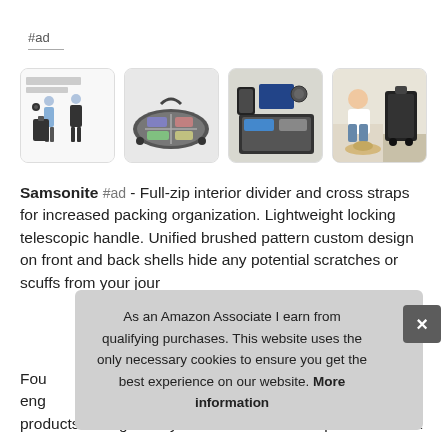#ad
[Figure (photo): Grid of four product images for Samsonite luggage: 1) Two people standing with luggage, 2) Open suitcase showing interior, 3) Overhead view of open suitcase with travel items, 4) Person sitting with luggage]
Samsonite #ad - Full-zip interior divider and cross straps for increased packing organization. Lightweight locking telescopic handle. Unified brushed pattern custom design on front and back shells hide any potential scratches or scuffs from your jour
As an Amazon Associate I earn from qualifying purchases. This website uses the only necessary cookies to ensure you get the best experience on our website. More information
Fou eng products are rigorously tested to ensure our products meet